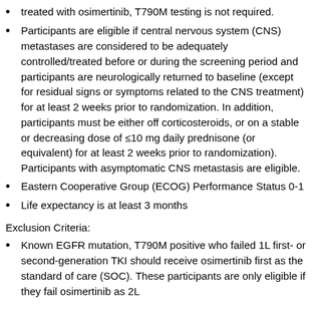treated with osimertinib, T790M testing is not required.
Participants are eligible if central nervous system (CNS) metastases are considered to be adequately controlled/treated before or during the screening period and participants are neurologically returned to baseline (except for residual signs or symptoms related to the CNS treatment) for at least 2 weeks prior to randomization. In addition, participants must be either off corticosteroids, or on a stable or decreasing dose of ≤10 mg daily prednisone (or equivalent) for at least 2 weeks prior to randomization). Participants with asymptomatic CNS metastasis are eligible.
Eastern Cooperative Group (ECOG) Performance Status 0-1
Life expectancy is at least 3 months
Exclusion Criteria:
Known EGFR mutation, T790M positive who failed 1L first- or second-generation TKI should receive osimertinib first as the standard of care (SOC). These participants are only eligible if they fail osimertinib as 2L